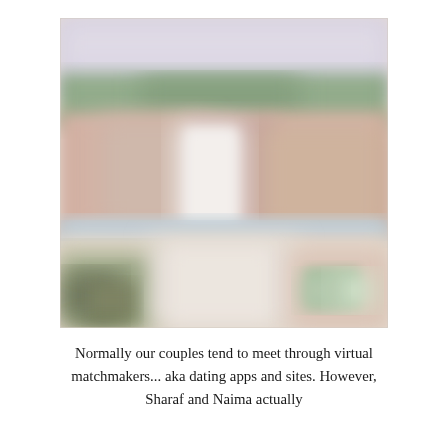[Figure (photo): A blurred/soft-focus outdoor photograph showing buildings, greenery, and a landscape scene with warm earth tones.]
Normally our couples tend to meet through virtual matchmakers... aka dating apps and sites. However, Sharaf and Naima actually